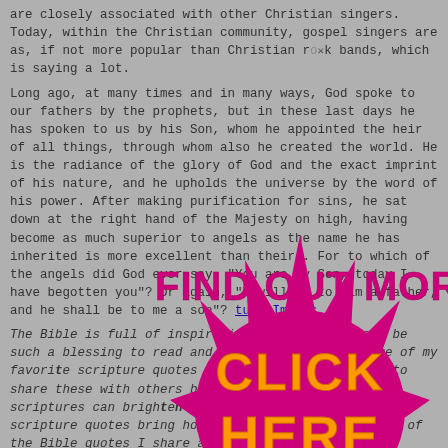are closely associated with other Christian singers. Today, within the Christian community, gospel singers are as, if not more popular than Christian rock bands, which is saying a lot.

Long ago, at many times and in many ways, God spoke to our fathers by the prophets, but in these last days he has spoken to us by his Son, whom he appointed the heir of all things, through whom also he created the world. He is the radiance of the glory of God and the exact imprint of his nature, and he upholds the universe by the word of his power. After making purification for sins, he sat down at the right hand of the Majesty on high, having become as much superior to angels as the name he has inherited is more excellent than theirs. For to which of the angels did God ever say, "You are my Son, today I have begotten you"? Or again, "I will be to him a father, and he shall be to me a son"?
The Bible is full of inspirational quotes that can be such a blessing to read and share with others. Some of my favorite scripture quotes are uplifting and I love to share these with others because I know how much scriptures can brighten anyone's day. My favorite scripture quotes bring hope, comfort and peace. Many of the Bible quotes I share are from the Old and New Testament.
[Figure (infographic): A pink/magenta starburst badge with orange text reading 'CLICK HERE' overlaid on the page content, with 'FIND OUT MORE' text banner above it in magenta.]